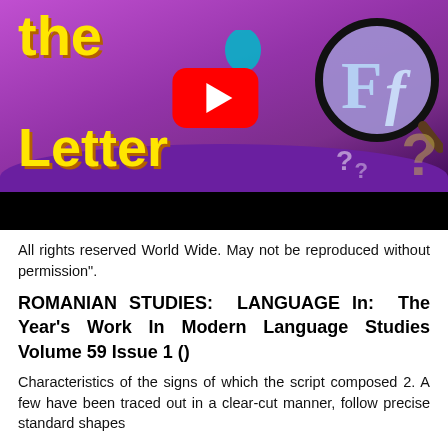[Figure (screenshot): YouTube video thumbnail for 'Find the Letter' educational video. Purple background with yellow bold text reading 'the Letter', a YouTube play button in center, a magnifier circle showing 'Ff' on the right, question marks, and a paintbrush graphic. Bottom has a black bar.]
All rights reserved World Wide. May not be reproduced without permission".
ROMANIAN STUDIES: LANGUAGE In: The Year's Work In Modern Language Studies Volume 59 Issue 1 ()
Characteristics of the signs of which the script composed 2. A few have been traced out in a clear-cut manner, follow precise standard shapes